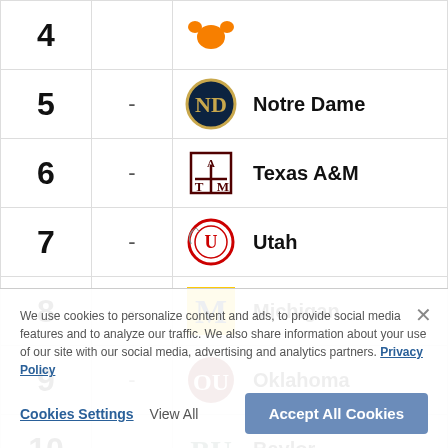| Rank | Change | Team |
| --- | --- | --- |
| 4 | - | Clemson |
| 5 | - | Notre Dame |
| 6 | - | Texas A&M |
| 7 | - | Utah |
| 8 | - | Michigan |
| 9 | - | Oklahoma |
| 10 | - | Baylor |
We use cookies to personalize content and ads, to provide social media features and to analyze our traffic. We also share information about your use of our site with our social media, advertising and analytics partners. Privacy Policy
Cookies Settings | View All | Accept All Cookies